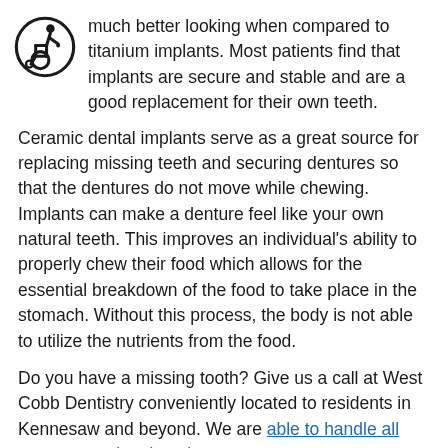[Figure (illustration): Wheelchair accessibility icon — a circular outline containing a stick figure in a wheelchair, in black and white.]
much better looking when compared to titanium implants. Most patients find that implants are secure and stable and are a good replacement for their own teeth.
Ceramic dental implants serve as a great source for replacing missing teeth and securing dentures so that the dentures do not move while chewing. Implants can make a denture feel like your own natural teeth. This improves an individual's ability to properly chew their food which allows for the essential breakdown of the food to take place in the stomach. Without this process, the body is not able to utilize the nutrients from the food.
Do you have a missing tooth? Give us a call at West Cobb Dentistry conveniently located to residents in Kennesaw and beyond. We are able to handle all your restorative dental